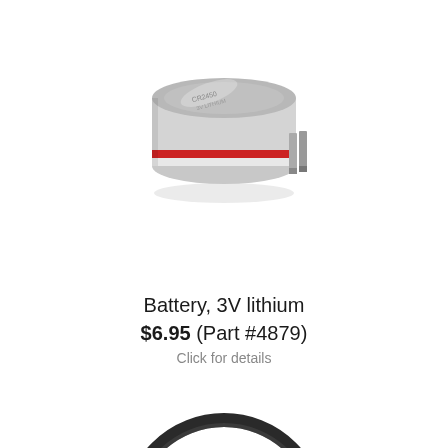[Figure (photo): A 3V lithium coin cell battery with PCB mount pins and a red stripe around the edge, viewed from a slight angle above.]
Battery, 3V lithium
$6.95 (Part #4879)
Click for details
[Figure (photo): An O-ring (black rubber seal ring), partially visible at the bottom of the page, showing the upper arc of the ring against a white background.]